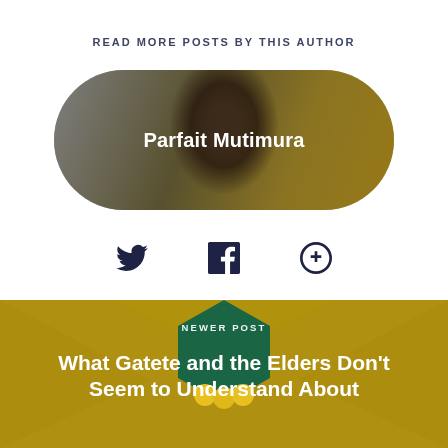READ MORE POSTS BY THIS AUTHOR
[Figure (photo): Author profile photo of Parfait Mutimura displayed in a rounded pill-shaped card with a dark overlay and the author's name centered over the image]
[Figure (infographic): Three social media icons: Twitter bird icon, Facebook circle icon, and Google+ circle icon]
NEWER POST
What Gatete and the Elders Don't Seem to Understand About